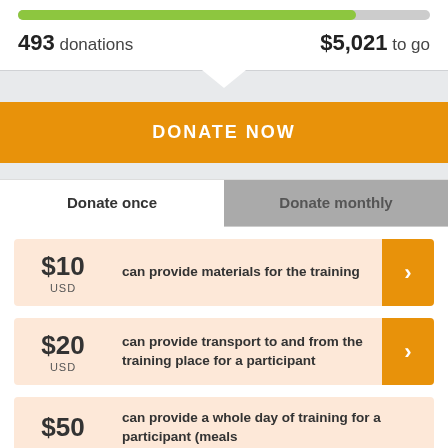[Figure (infographic): Progress bar showing fundraising progress, approximately 82% filled in green/olive color on grey background.]
493 donations
$5,021 to go
DONATE NOW
Donate once
Donate monthly
$10 USD can provide materials for the training
$20 USD can provide transport to and from the training place for a participant
$50 can provide a whole day of training for a participant (meals...